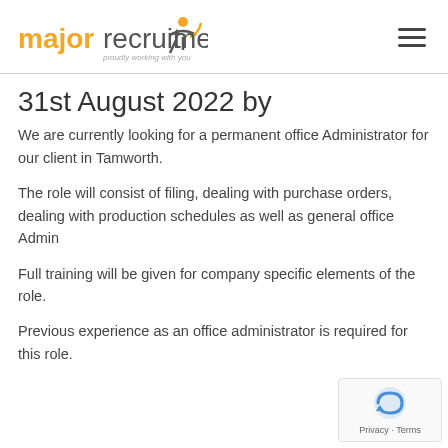major recruitment — proudly working with you
31st August 2022 by
We are currently looking for a permanent office Administrator for our client in Tamworth.
The role will consist of filing, dealing with purchase orders, dealing with production schedules as well as general office Admin
Full training will be given for company specific elements of the role.
Previous experience as an office administrator is required for this role.